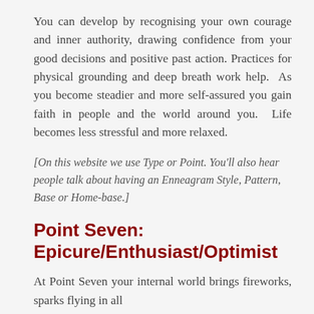You can develop by recognising your own courage and inner authority, drawing confidence from your good decisions and positive past action. Practices for physical grounding and deep breath work help. As you become steadier and more self-assured you gain faith in people and the world around you. Life becomes less stressful and more relaxed.
[On this website we use Type or Point. You'll also hear people talk about having an Enneagram Style, Pattern, Base or Home-base.]
Point Seven: Epicure/Enthusiast/Optimist
At Point Seven your internal world brings fireworks, sparks flying in all